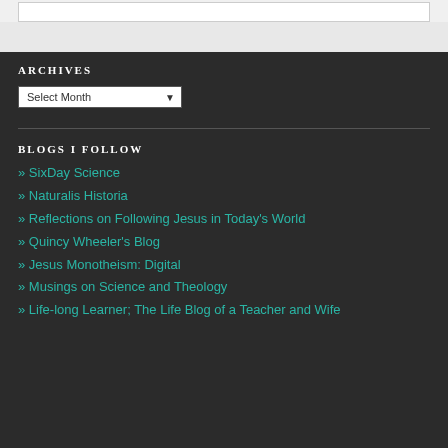ARCHIVES
Select Month
BLOGS I FOLLOW
» SixDay Science
» Naturalis Historia
» Reflections on Following Jesus in Today's World
» Quincy Wheeler's Blog
» Jesus Monotheism: Digital
» Musings on Science and Theology
» Life-long Learner; The Life Blog of a Teacher and Wife